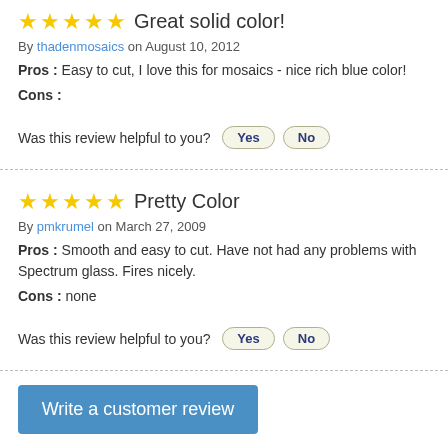Great solid color!
By thadenmosaics on August 10, 2012
Pros : Easy to cut, I love this for mosaics - nice rich blue color!
Cons :
Was this review helpful to you? Yes No
Pretty Color
By pmkrumel on March 27, 2009
Pros : Smooth and easy to cut. Have not had any problems with Spectrum glass. Fires nicely.
Cons : none
Was this review helpful to you? Yes No
Write a customer review